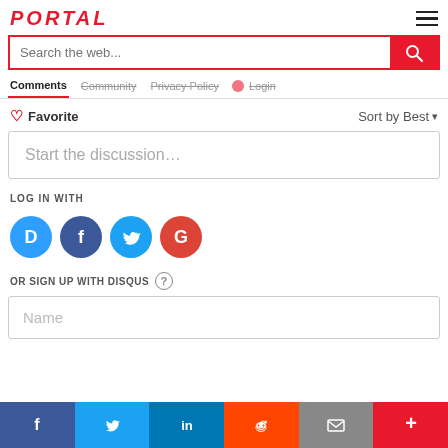PORTAL
[Figure (screenshot): Search bar with pink border and red search button showing magnifying glass icon, placeholder text 'Search the web...']
Comments  Community  Privacy Policy  Login
♡ Favorite  Sort by Best ▾
Start the discussion…
LOG IN WITH
[Figure (infographic): Social login icons: Disqus (blue D), Facebook (dark blue F), Twitter (light blue bird), Google (red G)]
OR SIGN UP WITH DISQUS ?
Name
[Figure (infographic): Bottom share bar with Facebook, Twitter, LinkedIn, Reddit, Email (envelope), and Plus buttons in colored segments]